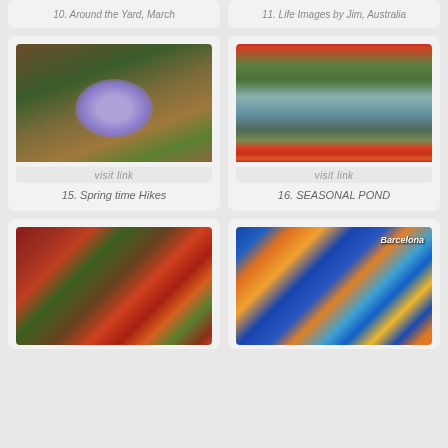10. Around the Yard, March
11. Life Images by Jim, Australia
[Figure (photo): Purple wildflowers growing among green leaves and brown leaf litter on forest floor]
visit link
15. Spring time Hikes
[Figure (photo): Pond or lake with trees reflected in calm water, framed by red and orange autumn maple leaves at top and bottom]
visit link
16. SEASONAL POND
[Figure (photo): Collage of autumn berries and fruits - red berries, orange rose hips, and colorful autumn leaves]
[Figure (photo): Barcelona mosaic collage featuring colorful tile work, sculptures and text reading Barcelona]